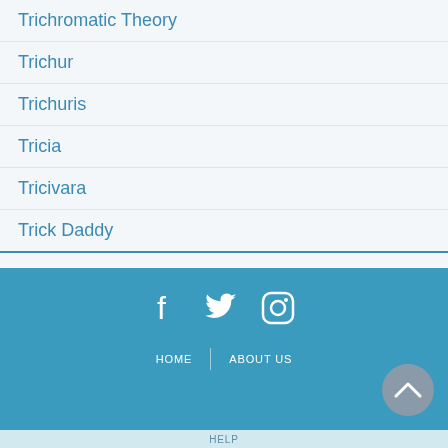Trichromatic Theory
Trichur
Trichuris
Tricia
Tricivara
Trick Daddy
HOME | ABOUT US | HELP